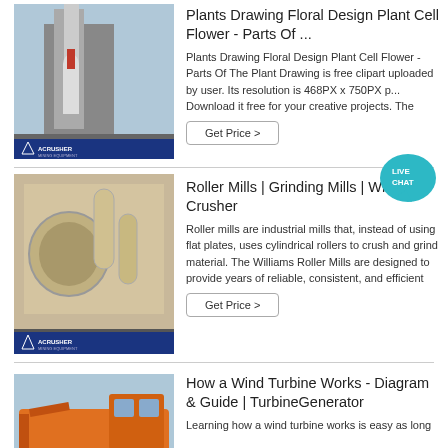[Figure (photo): Industrial crusher/mill equipment with Acrusher Mining Equipment branding badge]
Plants Drawing Floral Design Plant Cell Flower - Parts Of ...
Plants Drawing Floral Design Plant Cell Flower - Parts Of The Plant Drawing is free clipart uploaded by user. Its resolution is 468PX x 750PX p... Download it free for your creative projects. The
Get Price >
[Figure (photo): Roller mill / grinding mill industrial equipment with Acrusher Mining Equipment branding badge]
Roller Mills | Grinding Mills | Williams Crusher
Roller mills are industrial mills that, instead of using flat plates, uses cylindrical rollers to crush and grind material. The Williams Roller Mills are designed to provide years of reliable, consistent, and efficient
Get Price >
[Figure (photo): Large orange industrial mining/crushing vehicle or machine]
How a Wind Turbine Works - Diagram & Guide | TurbineGenerator
Learning how a wind turbine works is easy as long